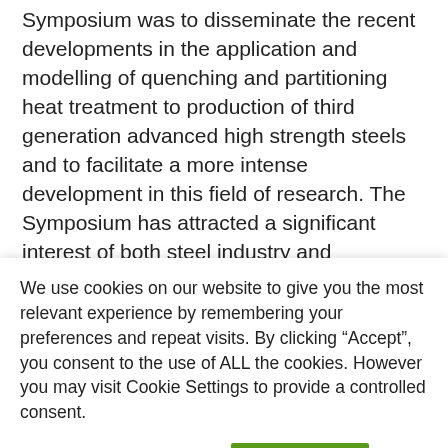Symposium was to disseminate the recent developments in the application and modelling of quenching and partitioning heat treatment to production of third generation advanced high strength steels and to facilitate a more intense development in this field of research. The Symposium has attracted a significant interest of both steel industry and academia, and favored networking and international collaboration in this exciting field of science and technology. The keynote and invited talks were given by researchers from the world largest steel manufacturing companies
We use cookies on our website to give you the most relevant experience by remembering your preferences and repeat visits. By clicking “Accept”, you consent to the use of ALL the cookies. However you may visit Cookie Settings to provide a controlled consent.